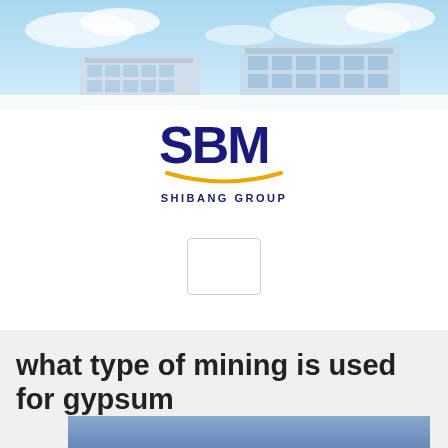[Figure (photo): Building with glass facade against a blue sky with clouds — SBM Shibang Group header banner]
[Figure (logo): SBM Shibang Group logo — blue block letters SBM with yellow swoosh underline and text SHIBANG GROUP below]
what type of mining is used for gypsum
[Figure (photo): Blue-gray sky or industrial background image, partially visible at bottom of page]